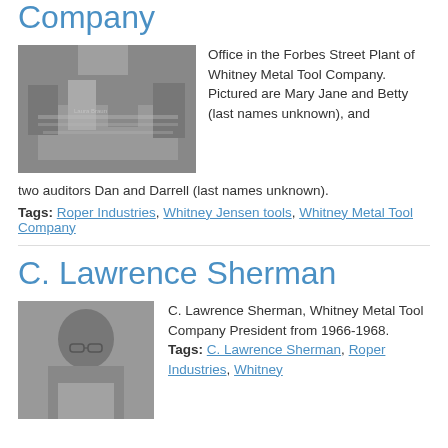Company
[Figure (photo): Black and white photo of people sitting around a table in an office setting, working with papers.]
Office in the Forbes Street Plant of Whitney Metal Tool Company. Pictured are Mary Jane and Betty (last names unknown), and two auditors Dan and Darrell (last names unknown).
Tags: Roper Industries, Whitney Jensen tools, Whitney Metal Tool Company
C. Lawrence Sherman
[Figure (photo): Black and white portrait photo of C. Lawrence Sherman, a man wearing glasses.]
C. Lawrence Sherman, Whitney Metal Tool Company President from 1966-1968. Tags: C. Lawrence Sherman, Roper Industries, Whitney...